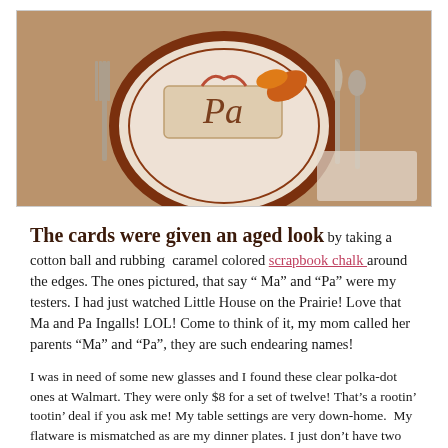[Figure (photo): A place setting with a decorative brown and white plate, a place card reading 'Pa', fall leaves, fork on the left, and spoon and knife on the right.]
The cards were given an aged look by taking a cotton ball and rubbing caramel colored scrapbook chalk around the edges. The ones pictured, that say “ Ma” and “Pa” were my testers. I had just watched Little House on the Prairie! Love that Ma and Pa Ingalls! LOL! Come to think of it, my mom called her parents “Ma” and “Pa”, they are such endearing names!
I was in need of some new glasses and I found these clear polka-dot ones at Walmart. They were only $8 for a set of twelve! That’s a rootin’ tootin’ deal if you ask me! My table settings are very down-home. My flatware is mismatched as are my dinner plates. I just don’t have two dozen of the same